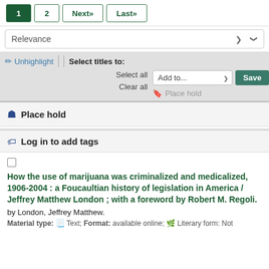1  2  Next »  Last »
Relevance
✏ Unhighlight | | Select titles to: Select all Add to... Save Clear all 🔖 Place hold
🔖 Place hold
🏷 Log in to add tags
How the use of marijuana was criminalized and medicalized, 1906-2004 : a Foucaultian history of legislation in America / Jeffrey Matthew London ; with a foreword by Robert M. Regoli.
by London, Jeffrey Matthew.
Material type: Text; Format: available online; Literary form: Not